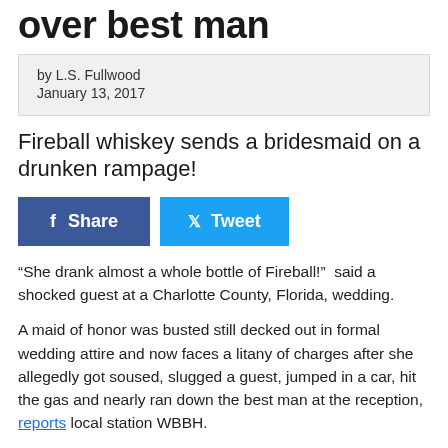over best man
by L.S. Fullwood
January 13, 2017
Fireball whiskey sends a bridesmaid on a drunken rampage!
[Figure (other): Facebook Share and Twitter Tweet social sharing buttons]
“She drank almost a whole bottle of Fireball!”  said a shocked guest at a Charlotte County, Florida, wedding.
A maid of honor was busted still decked out in formal wedding attire and now faces a litany of charges after she allegedly got soused, slugged a guest, jumped in a car, hit the gas and nearly ran down the best man at the reception, reports local station WBBH.
The so-called “maid of honor” ruined her best girlfriend’s